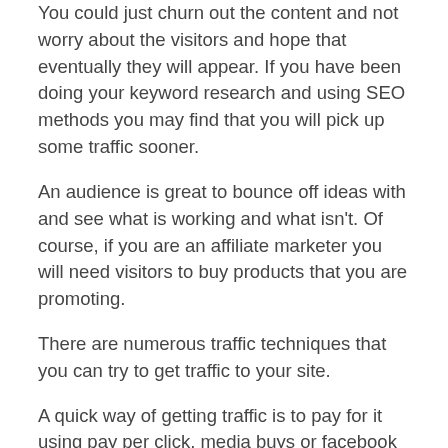You could just churn out the content and not worry about the visitors and hope that eventually they will appear. If you have been doing your keyword research and using SEO methods you may find that you will pick up some traffic sooner.
An audience is great to bounce off ideas with and see what is working and what isn't. Of course, if you are an affiliate marketer you will need visitors to buy products that you are promoting.
There are numerous traffic techniques that you can try to get traffic to your site.
A quick way of getting traffic is to pay for it using pay per click, media buys or facebook marketing.
Of course, most of us don't have the budget for a large ppc campaign which is why free methods are so popular.
Personally, I like to use a free method of gathering traffic from another site on the web and redirecting it to my own. By using this method I don't need to expend my own funds and can still build relationships with people.